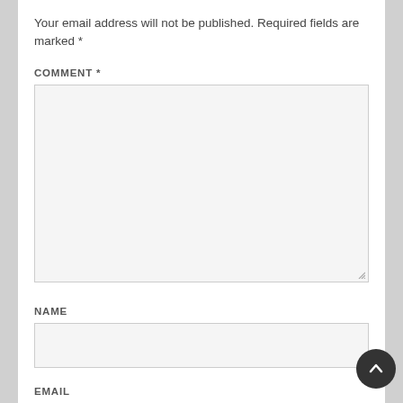Your email address will not be published. Required fields are marked *
COMMENT *
[Figure (screenshot): Large textarea input box for comment field]
NAME
[Figure (screenshot): Single-line text input box for name field]
EMAIL
[Figure (screenshot): Single-line text input box for email field]